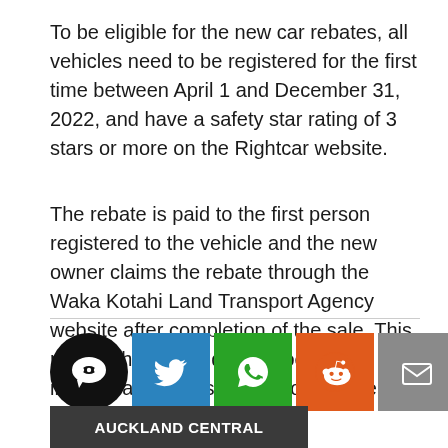To be eligible for the new car rebates, all vehicles need to be registered for the first time between April 1 and December 31, 2022, and have a safety star rating of 3 stars or more on the Rightcar website.
The rebate is paid to the first person registered to the vehicle and the new owner claims the rebate through the Waka Kotahi Land Transport Agency website after completion of the sale. This means the selling dealer does not incorporate the discount into the sale price of the vehicle.
[Figure (infographic): Social sharing buttons: comment bubble (black circle), Twitter (blue), WhatsApp (green), Reddit (orange), Email (grey)]
AUCKLAND CENTRAL